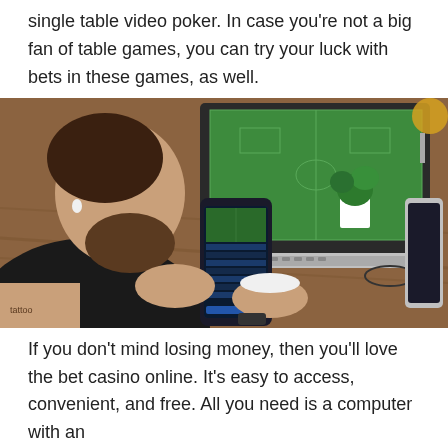single table video poker. In case you're not a big fan of table games, you can try your luck with bets in these games, as well.
[Figure (photo): A bearded man sitting at a wooden desk holding a smartphone showing a live sports betting app with a soccer match visible. Behind him is an open laptop displaying a green soccer field. There is also a tablet, glasses, a potted plant, and a lamp visible on the desk.]
If you don't mind losing money, then you'll love the bet casino online. It's easy to access, convenient, and free. All you need is a computer with an